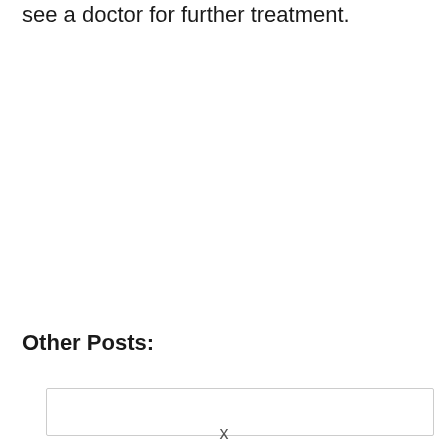see a doctor for further treatment.
Other Posts:
[Figure (other): A rectangular outlined box, partially visible, representing a post thumbnail or content card placeholder. An 'x' mark appears at the bottom center.]